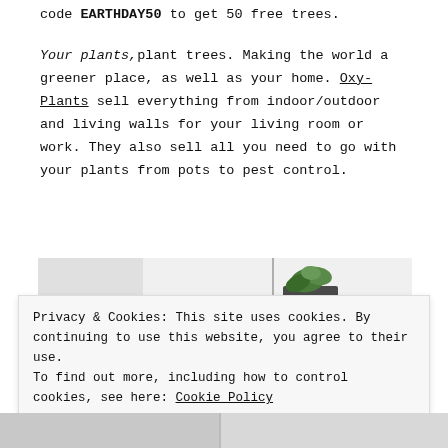code EARTHDAY50 to get 50 free trees.
Your plants, plant trees. Making the world a greener place, as well as your home. Oxy-Plants sell everything from indoor/outdoor and living walls for your living room or work. They also sell all you need to go with your plants from pots to pest control.
[Figure (photo): Photo of a modern interior with a vertical living wall planter containing green plants, set against a light grey background with minimal furniture visible on the left.]
Privacy & Cookies: This site uses cookies. By continuing to use this website, you agree to their use. To find out more, including how to control cookies, see here: Cookie Policy
Close and accept
[Figure (photo): Bottom strip showing partial photos of plants/interior scenes.]